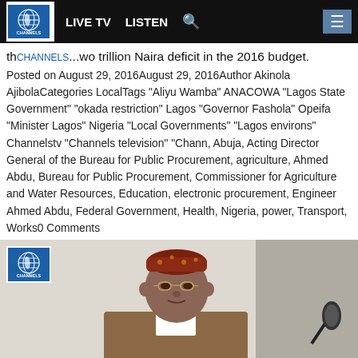LIVE TV  LISTEN  [search]  [menu]
th... two trillion Naira deficit in the 2016 budget.
Posted on August 29, 2016August 29, 2016Author Akinola AjibolaCategories LocalTags "Aliyu Wamba" ANACOWA "Lagos State Government" "okada restriction" Lagos "Governor Fashola" Opeifa "Minister Lagos" Nigeria "Local Governments" "Lagos environs" Channelstv "Channels television" "Chann, Abuja, Acting Director General of the Bureau for Public Procurement, agriculture, Ahmed Abdu, Bureau for Public Procurement, Commissioner for Agriculture and Water Resources, Education, electronic procurement, Engineer Ahmed Abdu, Federal Government, Health, Nigeria, power, Transport, Works0 Comments
[Figure (photo): A man wearing a red traditional cap and glasses seated, with a microphone visible on the right. Channels TV logo in top left.]